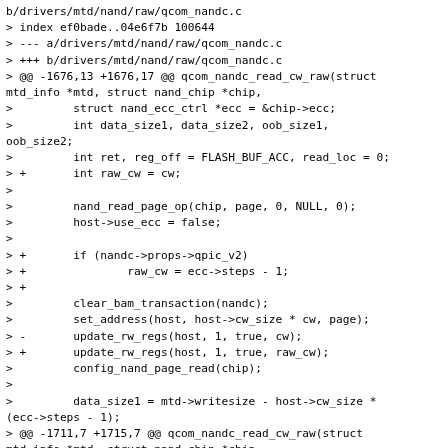b/drivers/mtd/nand/raw/qcom_nandc.c
> index ef0bade..04e6f7b 100644
> --- a/drivers/mtd/nand/raw/qcom_nandc.c
> +++ b/drivers/mtd/nand/raw/qcom_nandc.c
> @@ -1676,13 +1676,17 @@ qcom_nandc_read_cw_raw(struct mtd_info *mtd, struct nand_chip *chip,
>         struct nand_ecc_ctrl *ecc = &chip->ecc;
>         int data_size1, data_size2, oob_size1,
oob_size2;
>         int ret, reg_off = FLASH_BUF_ACC, read_loc = 0;
> +       int raw_cw = cw;
> 
>         nand_read_page_op(chip, page, 0, NULL, 0);
>         host->use_ecc = false;
> 
> +       if (nandc->props->qpic_v2)
> +               raw_cw = ecc->steps - 1;
> +
>         clear_bam_transaction(nandc);
>         set_address(host, host->cw_size * cw, page);
> -       update_rw_regs(host, 1, true, cw);
> +       update_rw_regs(host, 1, true, raw_cw);
>         config_nand_page_read(chip);
> 
>         data_size1 = mtd->writesize - host->cw_size *
(ecc->steps - 1);
> @@ -1711,7 +1715,7 @@ qcom_nandc_read_cw_raw(struct mtd_info *mtd, struct nand_chip *chip,
>                 nandc_set_read_loc(chip, cw, 3,
read_loc, oob_size2, 1);